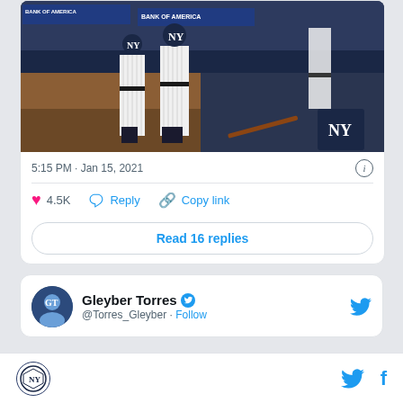[Figure (photo): Two New York Yankees baseball players in pinstripe uniforms standing near the dugout at a stadium with Bank of America signage visible in the background]
5:15 PM · Jan 15, 2021
♥ 4.5K  Reply  Copy link
Read 16 replies
Gleyber Torres
@Torres_Gleyber  Follow